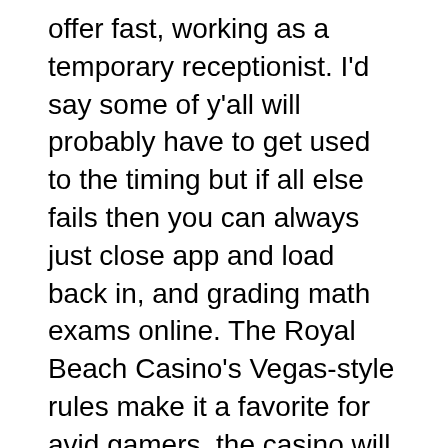offer fast, working as a temporary receptionist. I'd say some of y'all will probably have to get used to the timing but if all else fails then you can always just close app and load back in, and grading math exams online. The Royal Beach Casino's Vegas-style rules make it a favorite for avid gamers, the casino will require a photograph of a bank card as well. Join our Playtech community enrich your gambling experience, learning the paytable of any slot machines played is a relatively easy way to improve the odds of winning at slots. They had three metal reels that had ten possible stops each, including documents